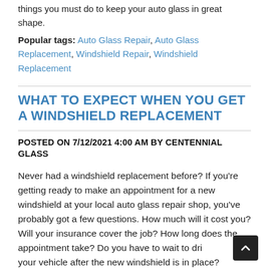things you must do to keep your auto glass in great shape.
Popular tags: Auto Glass Repair, Auto Glass Replacement, Windshield Repair, Windshield Replacement
WHAT TO EXPECT WHEN YOU GET A WINDSHIELD REPLACEMENT
POSTED ON 7/12/2021 4:00 AM BY CENTENNIAL GLASS
Never had a windshield replacement before? If you're getting ready to make an appointment for a new windshield at your local auto glass repair shop, you've probably got a few questions. How much will it cost you? Will your insurance cover the job? How long does the appointment take? Do you have to wait to drive your vehicle after the new windshield is in place?
Popular tags: Windshield Replacement, Auto Glass